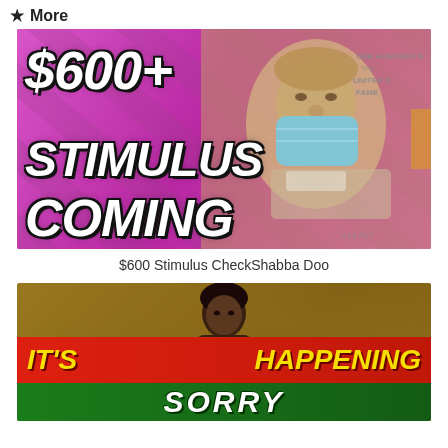★ More
[Figure (photo): Thumbnail image showing a pink/magenta background with $100 bills and Ben Franklin wearing a face mask. Large bold white text reads '$600+ STIMULUS COMING']
$600 Stimulus CheckShabba Doo
[Figure (photo): Thumbnail image with a young man looking pensive. Red banner reads 'IT'S HAPPENING' in yellow italic text. Green banner below partially shows 'SORRY' text.]